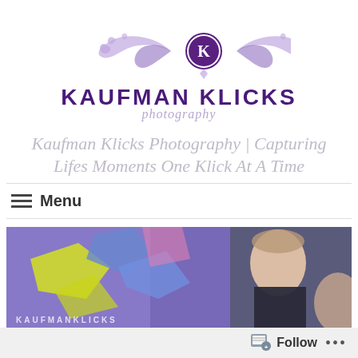[Figure (logo): Kaufman Klicks Photography logo with ornate purple flourish design and K monogram circle, brand name in bold purple uppercase letters, 'photography' in italic lavender script]
Kaufman Klicks Photography | Capturing Lifes Moments One Klick At A Time
≡  Menu
[Figure (photo): Couple photo in front of colorful graffiti wall. Man on right looking at camera, woman partially visible. KAUFMANKLICKS watermark in lower left.]
Follow ...